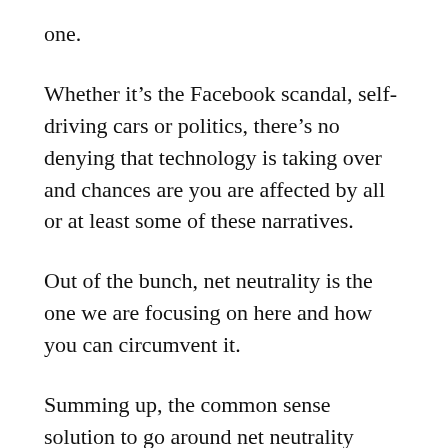one.
Whether it’s the Facebook scandal, self-driving cars or politics, there’s no denying that technology is taking over and chances are you are affected by all or at least some of these narratives.
Out of the bunch, net neutrality is the one we are focusing on here and how you can circumvent it.
Summing up, the common sense solution to go around net neutrality repeal is to set yourself up with a VPN service. If you take nothing but the main idea from this written material, this is